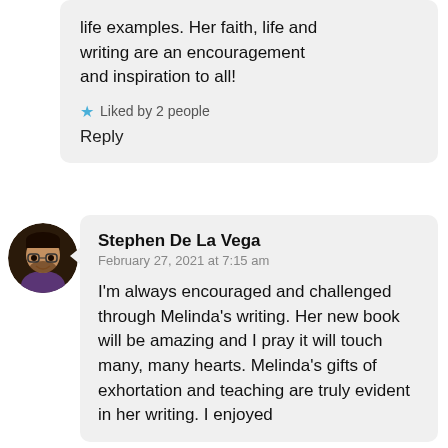life examples. Her faith, life and writing are an encouragement and inspiration to all!
Liked by 2 people
Reply
Stephen De La Vega
February 27, 2021 at 7:15 am
I'm always encouraged and challenged through Melinda's writing. Her new book will be amazing and I pray it will touch many, many hearts. Melinda's gifts of exhortation and teaching are truly evident in her writing. I enjoyed